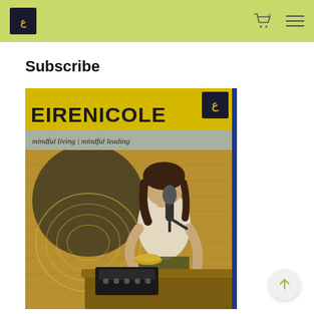Navigation header with logo, cart icon, and menu icon
Subscribe
[Figure (photo): Podcast cover art for 'EIRENICOLE – mindful living | mindful leading' showing a woman at a recording studio desk with a microphone, singing bowl, mixing board, and decorative tapestry background]